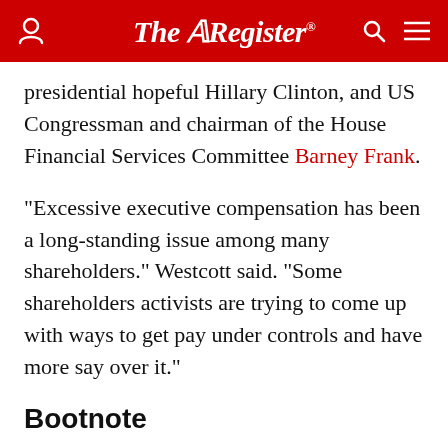The Register
presidential hopeful Hillary Clinton, and US Congressman and chairman of the House Financial Services Committee Barney Frank.
"Excessive executive compensation has been a long-standing issue among many shareholders." Westcott said. "Some shareholders activists are trying to come up with ways to get pay under controls and have more say over it."
Bootnote
The Oracle "say on pay" goes before shareholders as it emerged Microsoft is changing the way it rewards executives such as CEO Steve Ballmer.